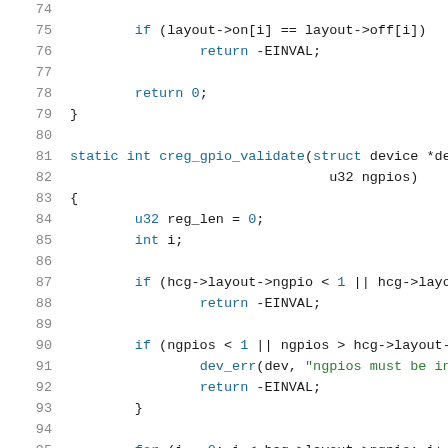[Figure (screenshot): Source code listing in C showing lines 74-95 of a kernel/driver file. Code includes a function returning -EINVAL, and a static int creg_gpio_validate function with parameter checks.]